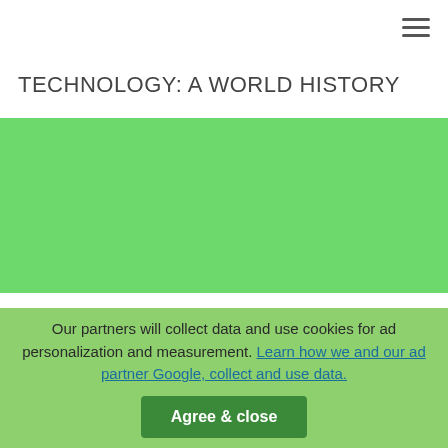≡ (hamburger menu icon)
TECHNOLOGY: A WORLD HISTORY
[Figure (illustration): Green banner/placeholder image for book cover]
Technology: A World History The New Oxford World History Technology: A World History Daniel R. Headrick 1 2009 1 ...
Author: Daniel R. Headrick
⬇ 672 downloads  ⬇ 3094 Views  ⬇ 3MB Size  ⚑ Report  This content was uploaded by our users and we assume good faith they have the permission to share this book. If you own the
Our partners will collect data and use cookies for ad personalization and measurement. Learn how we and our ad partner Google, collect and use data.
Agree & close